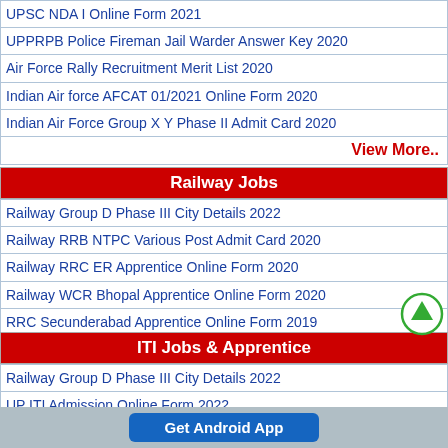UPSC NDA I Online Form 2021
UPPRPB Police Fireman Jail Warder Answer Key 2020
Air Force Rally Recruitment Merit List 2020
Indian Air force AFCAT 01/2021 Online Form 2020
Indian Air Force Group X Y Phase II Admit Card 2020
View More..
Railway Jobs
Railway Group D Phase III City Details 2022
Railway RRB NTPC Various Post Admit Card 2020
Railway RRC ER Apprentice Online Form 2020
Railway WCR Bhopal Apprentice Online Form 2020
RRC Secunderabad Apprentice Online Form 2019
RRC Jaipur Apprentice Online Form 2019
Railway SECR Nagpur Trade Apprentice Online Form 2019
View More..
ITI Jobs & Apprentice
Railway Group D Phase III City Details 2022
UP ITI Admission Online Form 2022
MPPEB Police Constable Recruitment Online Form 2020
CTI Online Admission Online Counselling 2020
Get Android App